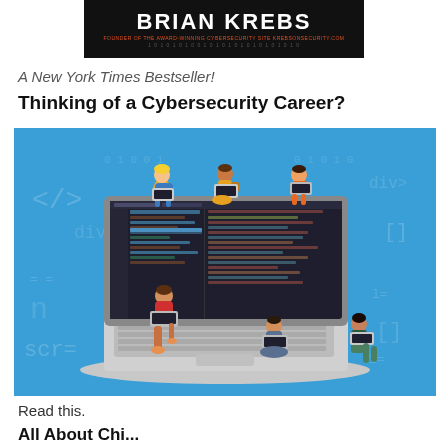[Figure (logo): Brian Krebs banner logo with name in white on black background, subtitle 'FOUNDER OF THE AWARD-WINNING CYBERSECURITY SITE KREBSONSECURITY.COM' in orange, binary digits row below]
A New York Times Bestseller!
Thinking of a Cybersecurity Career?
[Figure (illustration): Illustration of several young people sitting around and on top of a large laptop computer showing code editor on its screen, on a blue background with faint code symbols]
Read this.
All About Chi...